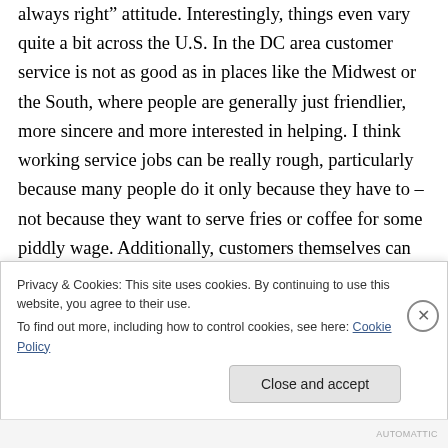always right” attitude. Interestingly, things even vary quite a bit across the U.S. In the DC area customer service is not as good as in places like the Midwest or the South, where people are generally just friendlier, more sincere and more interested in helping. I think working service jobs can be really rough, particularly because many people do it only because they have to – not because they want to serve fries or coffee for some piddly wage. Additionally, customers themselves can be rude and impatient, and
Privacy & Cookies: This site uses cookies. By continuing to use this website, you agree to their use.
To find out more, including how to control cookies, see here: Cookie Policy